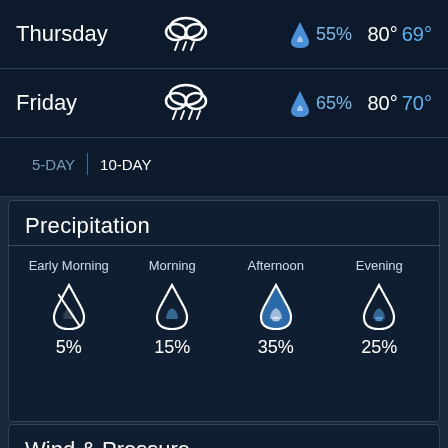Thursday  55%  80° 69°
Friday  65%  80° 70°
5-DAY | 10-DAY
Precipitation
Early Morning 5%
Morning 15%
Afternoon 35%
Evening 25%
Wind & Pressure
Wind
8 mph West
Barometer
27.2 inches